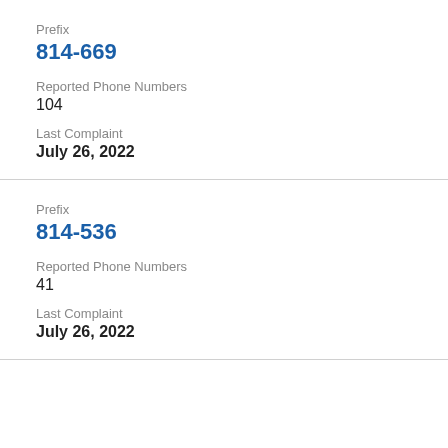Prefix
814-669
Reported Phone Numbers
104
Last Complaint
July 26, 2022
Prefix
814-536
Reported Phone Numbers
41
Last Complaint
July 26, 2022